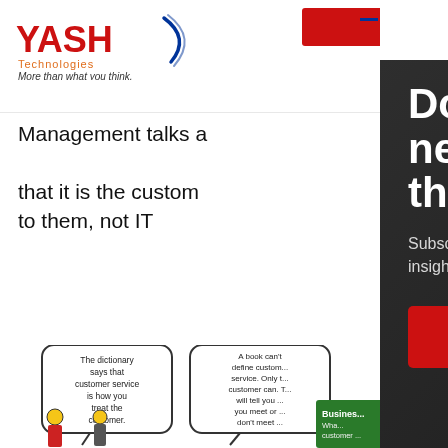[Figure (logo): YASH Technologies logo with tagline 'More than what you think.']
Management talks a... that it is the custom... to them, not IT
[Figure (illustration): Cartoon illustration showing speech bubbles about customer service definitions and people holding phones in front of a Business sign]
[Figure (screenshot): Modal popup overlay with dark background showing newsletter/blog subscription prompt. Headline: 'Do not miss a newsletter/blo that matters'. Subtext: 'Subscribe to our newsletters an insights delivered straight into y'. Red Subscribe button. Close X button in top right.]